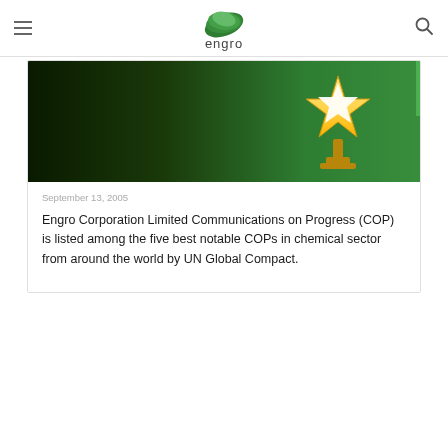engro
[Figure (photo): Award trophy — a gold star trophy on a dark green background]
September 13, 2005
Engro Corporation Limited Communications on Progress (COP) is listed among the five best notable COPs in chemical sector from around the world by UN Global Compact.